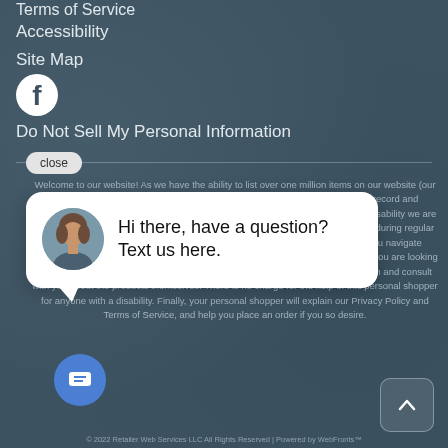Terms of Service
Accessibility
Site Map
[Figure (logo): Facebook logo icon (circle with f)]
Do Not Sell My Personal Information
Welcome to our website! As we have the ability to list over one million items on our website (our selection changes all of the time), it is not feasible for a company our size to record and playback the descriptions on every item on our website. However, if you have a disability we are here to help you. Please call our disability services phone line at (866) 498-5103 during regular business hours and one of our kind and friendly personal shoppers will help you navigate through our website, help conduct advanced searches, help you choose the item you are looking for with the specifications you are seeking, read you the specifications of any item and consult with you about the products themselves. There is no charge for the help of this personal shopper for anyone with a disability. Finally, your personal shopper will explain our Privacy Policy and Terms of Service, and help you place an order if you so desire.
[Figure (screenshot): Chat bubble popup with avatar photo of a woman and text: Hi there, have a question? Text us here.]
[Figure (other): Blue circular chat button with message icon]
[Figure (other): Scroll to top button with upward chevron]
© 2022 Retailer Web Services LLC All Rights Reserved | Powered by WebFronts™